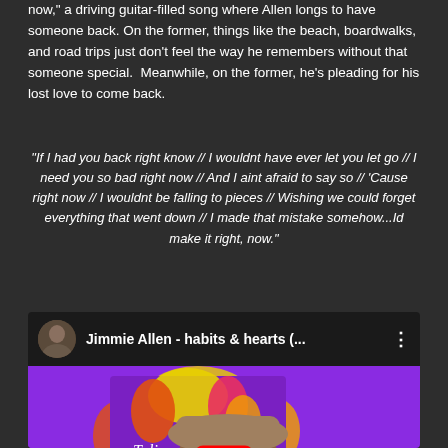now," a driving guitar-filled song where Allen longs to have someone back. On the former, things like the beach, boardwalks, and road trips just don't feel the way he remembers without that someone special.  Meanwhile, on the former, he's pleading for his lost love to come back.
"If I had you back right know // I wouldnt have ever let you let go // I need you so bad right now // And I aint afraid to say so // 'Cause right now // I wouldnt be falling to pieces // Wishing we could forget everything that went down // I made that mistake somehow...Id make it right, now."
[Figure (screenshot): YouTube video embed showing 'Jimmie Allen - habits & hearts (...' with album art for 'Tulip Drive' on a purple background with a red YouTube play button overlay]